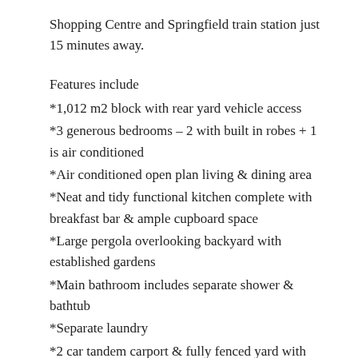Shopping Centre and Springfield train station just 15 minutes away.
Features include
*1,012 m2 block with rear yard vehicle access
*3 generous bedrooms – 2 with built in robes + 1 is air conditioned
*Air conditioned open plan living & dining area
*Neat and tidy functional kitchen complete with breakfast bar & ample cupboard space
*Large pergola overlooking backyard with established gardens
*Main bathroom includes separate shower & bathtub
*Separate laundry
*2 car tandem carport & fully fenced yard with ample off-street parking